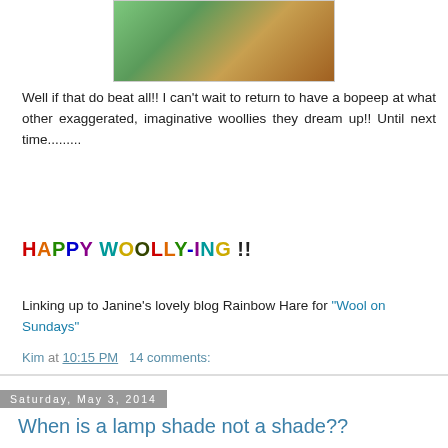[Figure (photo): Partial view of a colorful decorated bicycle wheel and wooden surface, cropped at top of page]
Well if that do beat all!! I can't wait to return to have a bopeep at what other exaggerated, imaginative woollies they dream up!! Until next time.........
HAPPY WOOLLY-ING !!
Linking up to Janine's lovely blog Rainbow Hare for "Wool on Sundays"
Kim at 10:15 PM   14 comments:
Saturday, May 3, 2014
When is a lamp shade not a shade??